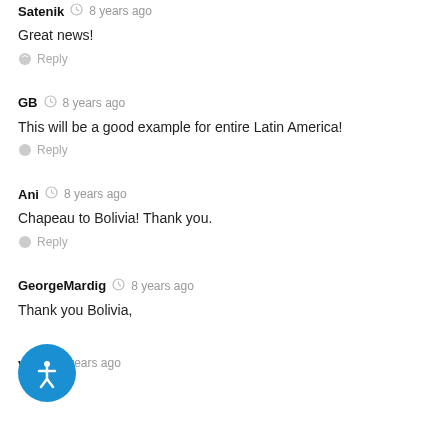Satenik  8 years ago
Great news!
Reply
GB  8 years ago
This will be a good example for entire Latin America!
Reply
Ani  8 years ago
Chapeau to Bolivia! Thank you.
Reply
GeorgeMardig  8 years ago
Thank you Bolivia,
Reply
...yn  8 years ago